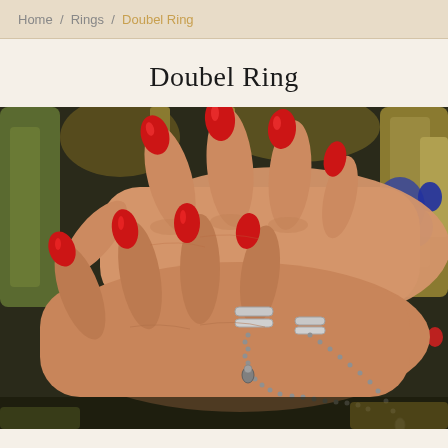Home / Rings / Doubel Ring
Doubel Ring
[Figure (photo): Close-up photo of two hands with red painted nails, crossed over each other. The hands wear silver double rings connected by a small chain/bead chain, set against a colorful blurred background with gold and jeweled decorative elements.]